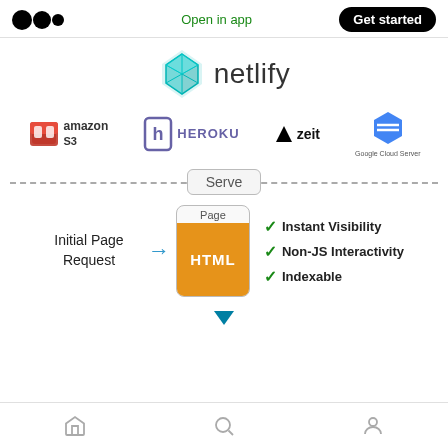Open in app  Get started
[Figure (logo): Netlify logo with teal diamond shape and 'netlify' wordmark]
[Figure (infographic): Service logos row: Amazon S3, Heroku, Zeit, Google Cloud Server]
[Figure (flowchart): Diagram showing Initial Page Request arrow to HTML Page box, with checklist: Instant Visibility, Non-JS Interactivity, Indexable. Serve label on dashed line above. Down arrow below.]
Home  Search  Profile